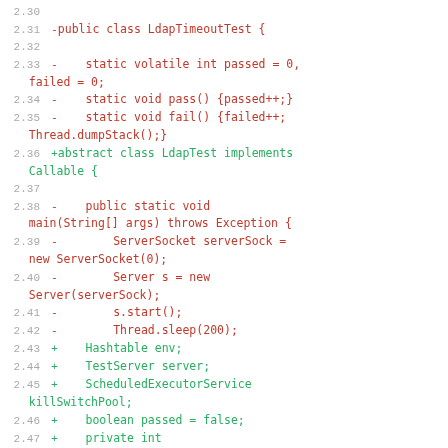2.30
2.31 -public class LdapTimeoutTest {
2.32
2.33 -    static volatile int passed = 0, failed = 0;
2.34 -    static void pass() {passed++;}
2.35 -    static void fail() {failed++; Thread.dumpStack();}
2.36 +abstract class LdapTest implements Callable {
2.37
2.38 -    public static void main(String[] args) throws Exception {
2.39 -        ServerSocket serverSock = new ServerSocket(0);
2.40 -        Server s = new Server(serverSock);
2.41 -        s.start();
2.42 -        Thread.sleep(200);
2.43 +    Hashtable env;
2.44 +    TestServer server;
2.45 +    ScheduledExecutorService killSwitchPool;
2.46 +    boolean passed = false;
2.47 +    private int HANGING_TEST_TIMEOUT = 20_000;
2.48
2.49 -        Hashtable env = new